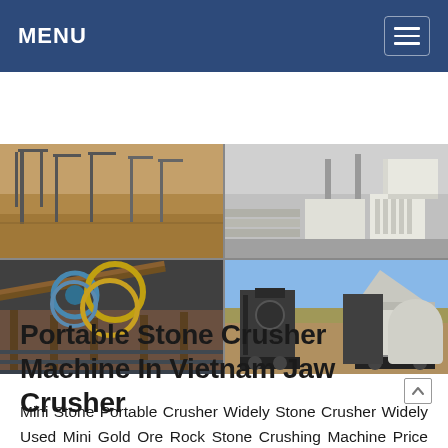MENU
[Figure (photo): Four-panel photo grid showing industrial stone crushing machinery and facilities: top-left shows sandy ground with metal support structures at a quarry or mining site; top-right shows an indoor warehouse with white stone blocks stacked; bottom-left shows rusty conveyor/industrial machinery with colored wheels; bottom-right shows portable jaw crusher and cone crusher equipment outdoors on a dirt site under blue sky.]
Portable Stone Crusher Machine In Vietnam Jaw Crusher
Mini Stone Portable Crusher Widely Stone Crusher Widely Used Mini Gold Ore Rock Stone Crushing Machine Price Portable Small Diesel Engine PE150*250 Jaw Crusher For